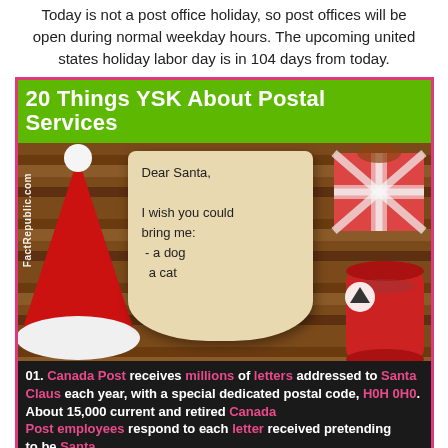Today is not a post office holiday, so post offices will be open during normal weekday hours. The upcoming united states holiday labor day is in 104 days from today.
[Figure (infographic): Infographic titled '20 Things YSK About Postal Services' showing a photo of a wooden table with a Santa hat, a letter to Santa ('Dear Santa, I wish you could bring me: - a dog - a cat'), a wrapped gift, and a red cup. Below the image is text about Canada Post receiving millions of letters addressed to Santa Claus, with postal code H0H 0H0, and 15,000 employees responding. Watermark: FactRepublic.com]
01. Canada Post receives millions of letters addressed to Santa Claus each year, with a special dedicated postal code, H0H 0H0. About 15,000 current and retired Canada Post employees respond to each letter received pretending to be Santa.